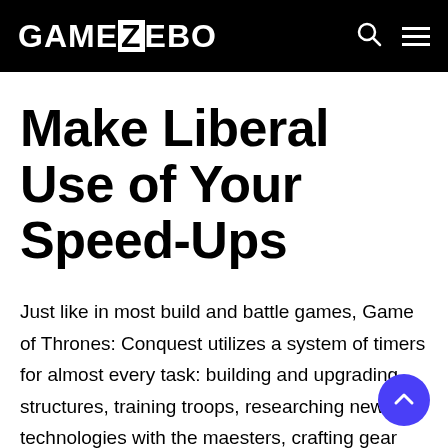GAMEZEBO
Make Liberal Use of Your Speed-Ups
Just like in most build and battle games, Game of Thrones: Conquest utilizes a system of timers for almost every task: building and upgrading structures, training troops, researching new technologies with the maesters, crafting gear and more. You can wait until the timer has expired to reap the benefits, spend the game's in-game currency to finish a instantly.